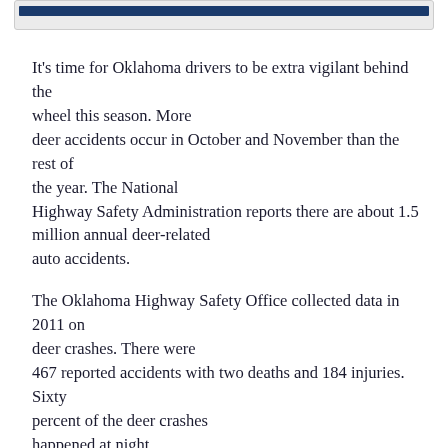[Figure (other): Dark blue header bar at the top of the page inside a light gray container]
It's time for Oklahoma drivers to be extra vigilant behind the wheel this season. More deer accidents occur in October and November than the rest of the year. The National Highway Safety Administration reports there are about 1.5 million annual deer-related auto accidents.
The Oklahoma Highway Safety Office collected data in 2011 on deer crashes. There were 467 reported accidents with two deaths and 184 injuries. Sixty percent of the deer crashes happened at night.
Vehicle collisions with deer and other animals can be costly and dangerous. Before a crash occurs, make sure you're protected with the right type of insurance and understand